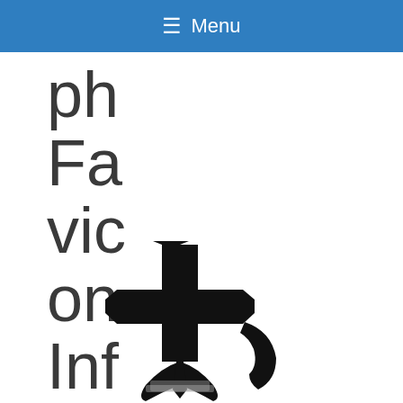≡ Menu
php
Favicon
Information
[Figure (logo): A black cross-anchor combination symbol logo on white background]